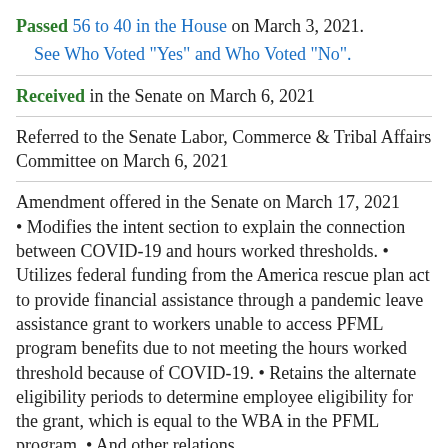Passed 56 to 40 in the House on March 3, 2021.
See Who Voted "Yes" and Who Voted "No".
Received in the Senate on March 6, 2021
Referred to the Senate Labor, Commerce & Tribal Affairs Committee on March 6, 2021
Amendment offered in the Senate on March 17, 2021 • Modifies the intent section to explain the connection between COVID-19 and hours worked thresholds. • Utilizes federal funding from the America rescue plan act to provide financial assistance through a pandemic leave assistance grant to workers unable to access PFML program benefits due to not meeting the hours worked threshold because of COVID-19. • Retains the alternate eligibility periods to determine employee eligibility for the grant, which is equal to the WBA in the PFML program. • And other relations